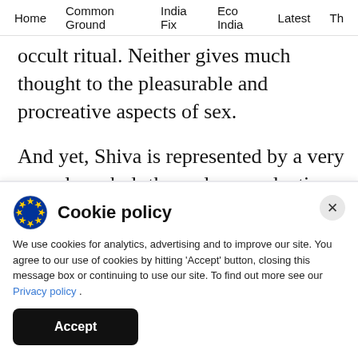Home  Common Ground  India Fix  Eco India  Latest  Th
occult ritual. Neither gives much thought to the pleasurable and procreative aspects of sex.
And yet, Shiva is represented by a very sexual symbol: the male reproductive organ placed within the female reproductive organ. Why? The quest for the answer has made me write the book.
Cookie policy
We use cookies for analytics, advertising and to improve our site. You agree to our use of cookies by hitting 'Accept' button, closing this message box or continuing to use our site. To find out more see our Privacy policy .